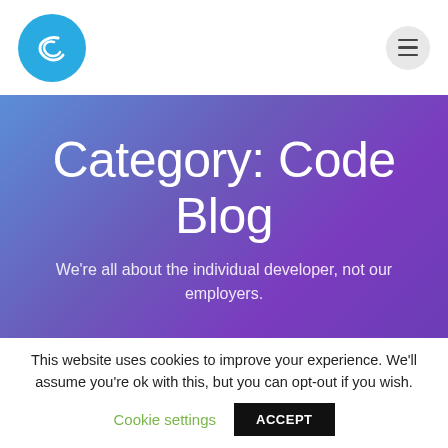[Figure (logo): Circular teal logo with a stylized C letter]
[Figure (other): Hamburger menu button — three horizontal lines in a grey circle]
Category: Code Blog
We're all about the individual developer, not our employers.
This website uses cookies to improve your experience. We'll assume you're ok with this, but you can opt-out if you wish.
Cookie settings
ACCEPT